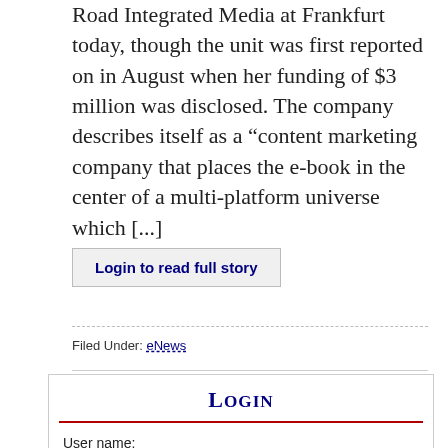Road Integrated Media at Frankfurt today, though the unit was first reported on in August when her funding of $3 million was disclosed. The company describes itself as a “content marketing company that places the e-book in the center of a multi-platform universe which [...]
Login to read full story
Filed Under: eNews
Login
User name: